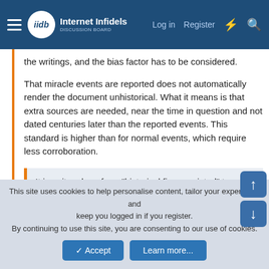Internet Infidels — Log in  Register
the writings, and the bias factor has to be considered.
That miracle events are reported does not automatically render the document unhistorical. What it means is that extra sources are needed, near the time in question and not dated centuries later than the reported events. This standard is higher than for normal events, which require less corroboration.
It is quite a leap from "historical figure existed" to "historical figure existed, and is therefore a god."
But that's not the "leap" here. If there's a leap, it's "historical figure did miracle (superhuman) acts" and therefore "had some kind of superhuman power source." The "historical figure" didn't just exist, but actually did those acts, and if they are credited, some extreme with it.
This site uses cookies to help personalise content, tailor your experience and keep you logged in if you register.
By continuing to use this site, you are consenting to our use of cookies.